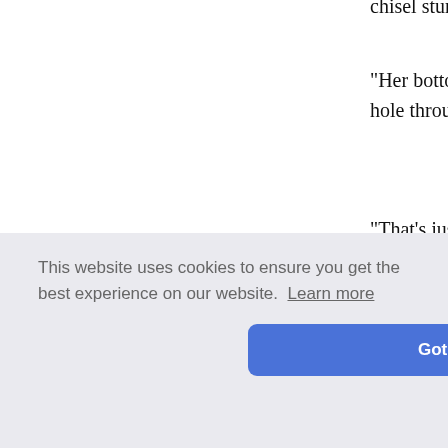chisel sturdily.
"Her bottom can't be awash with all th... hole through the outside planking right ...
"That's just what I have been doing," de... I get started on a thing. Helpful and ente...
The next moment, before Mayo, his tho... voice warning or had grasped the ful... through the planking. Instantly there wa... set his hands against the mate, pushing... been devoting his attention to the planki...
[Figure (screenshot): Cookie consent banner with text 'This website uses cookies to ensure you get the best experience on our website. Learn more' and a blue 'Got it!' button, overlaid on a webpage showing partial text about 'crevice', 's hand as', 'le down i', 'jeopardy.', 'daner minds of her father and his mates']
daner minds of her father and his mates...